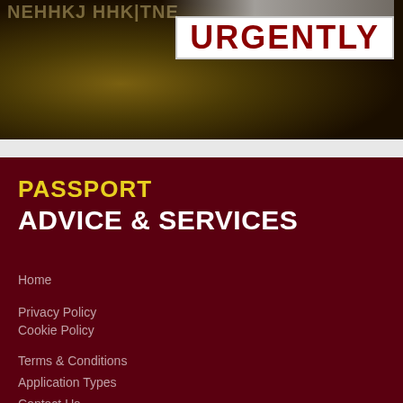[Figure (illustration): Dark banner with bokeh/warm light background and a white box containing the word URGENTLY in bold red text, with partial faded text visible at top left]
PASSPORT
ADVICE & SERVICES
Home
Privacy Policy
Cookie Policy
Terms & Conditions
Application Types
Contact Us